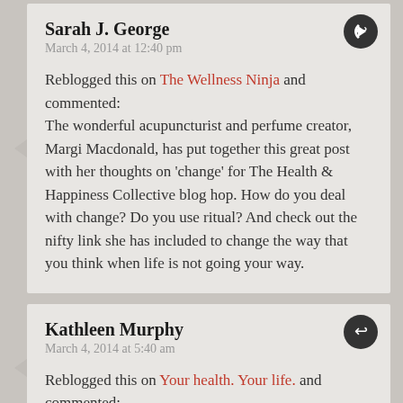Sarah J. George
March 4, 2014 at 12:40 pm
Reblogged this on The Wellness Ninja and commented:
The wonderful acupuncturist and perfume creator, Margi Macdonald, has put together this great post with her thoughts on ‘change’ for The Health & Happiness Collective blog hop. How do you deal with change? Do you use ritual? And check out the nifty link she has included to change the way that you think when life is not going your way.
Kathleen Murphy
March 4, 2014 at 5:40 am
Reblogged this on Your health. Your life. and commented: